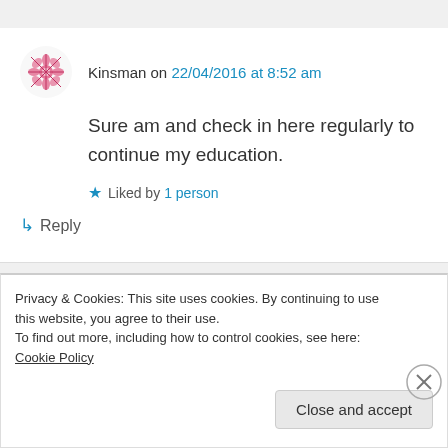Kinsman on 22/04/2016 at 8:52 am
Sure am and check in here regularly to continue my education.
Liked by 1 person
↳ Reply
Matt P (movingtheriver.com,
Privacy & Cookies: This site uses cookies. By continuing to use this website, you agree to their use.
To find out more, including how to control cookies, see here: Cookie Policy
Close and accept